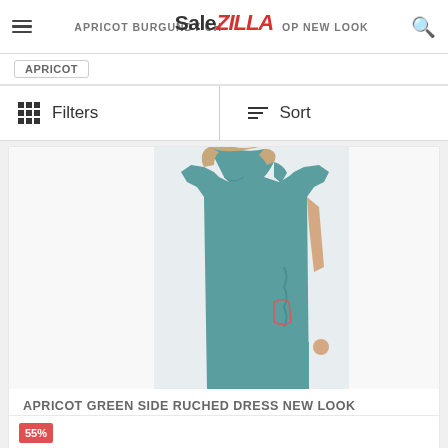SaleZilla — APRICOT BURGUNDY CHOP NEW LOOK
APRICOT
Filters
Sort
[Figure (photo): A woman wearing an Apricot Green Side Ruched Dress from New Look, a fitted teal/dark green bodycon dress with ruching detail on the side]
APRICOT GREEN SIDE RUCHED DRESS NEW LOOK
APRICOT
GBP 32.00
55%